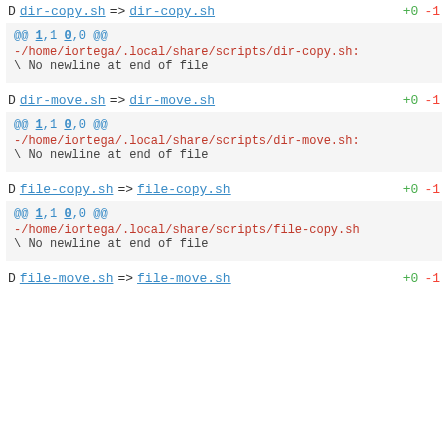D dir-copy.sh => dir-copy.sh +0 -1
@@ 1,1 0,0 @@
-/home/iortega/.local/share/scripts/dir-copy.sh:
\ No newline at end of file
D dir-move.sh => dir-move.sh +0 -1
@@ 1,1 0,0 @@
-/home/iortega/.local/share/scripts/dir-move.sh:
\ No newline at end of file
D file-copy.sh => file-copy.sh +0 -1
@@ 1,1 0,0 @@
-/home/iortega/.local/share/scripts/file-copy.sh:
\ No newline at end of file
D file-move.sh => file-move.sh +0 -1